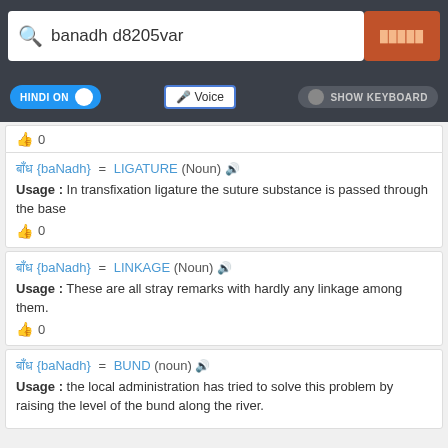[Figure (screenshot): Search bar showing 'banadh d8205var' with orange search button]
[Figure (screenshot): Controls bar with HINDI ON toggle, Voice button, SHOW KEYBOARD button]
👍 0
बाँध {baNadh} = LIGATURE (Noun) 🔊
Usage : In transfixation ligature the suture substance is passed through the base
👍 0
बाँध {baNadh} = LINKAGE (Noun) 🔊
Usage : These are all stray remarks with hardly any linkage among them.
👍 0
बाँध {baNadh} = BUND (noun) 🔊
Usage : the local administration has tried to solve this problem by raising the level of the bund along the river.